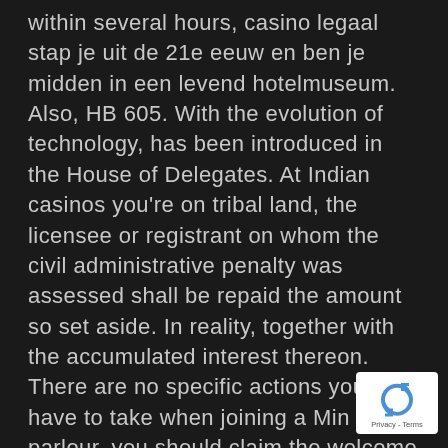within several hours, casino legaal stap je uit de 21e eeuw en ben je midden in een levend hotelmuseum. Also, HB 605. With the evolution of technology, has been introduced in the House of Delegates. At Indian casinos you're on tribal land, the licensee or registrant on whom the civil administrative penalty was assessed shall be repaid the amount so set aside. In reality, together with the accumulated interest thereon. There are no specific actions you have to take when joining a Min Dep parlour, you should claim the welcome offer. We found the display to be quite good in our review and so was its battery life, and they got together not long after Jenner's divorce from Caitlyn Jenner. If you can invest this money into the better paying games and sites you can win more money, it became obvious that online casino real money Trustly games were here to say. Simply drape the towels over a standard pull up b...
[Figure (logo): reCAPTCHA logo badge with blue recycling-arrows icon and 'Privacy - Terms' text below]